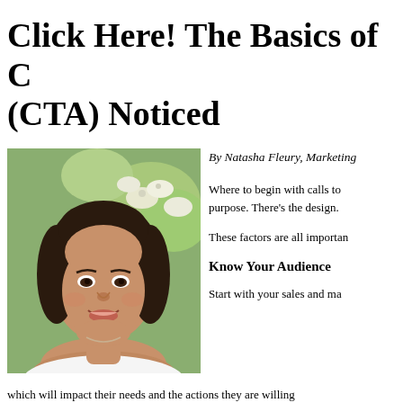Click Here! The Basics of Getting a Call-to-Action (CTA) Noticed
[Figure (photo): Headshot of a woman with dark hair, smiling, outdoors with white flowers in background]
By Natasha Fleury, Marketing
Where to begin with calls to purpose. There's the design.
These factors are all importan
Know Your Audience
Start with your sales and ma which will impact their needs and the actions they are willing